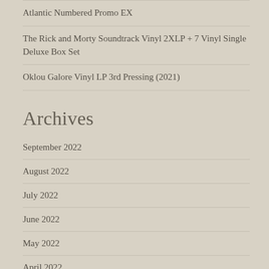Atlantic Numbered Promo EX
The Rick and Morty Soundtrack Vinyl 2XLP + 7 Vinyl Single Deluxe Box Set
Oklou Galore Vinyl LP 3rd Pressing (2021)
Archives
September 2022
August 2022
July 2022
June 2022
May 2022
April 2022
March 2022
February 2022
January 2022